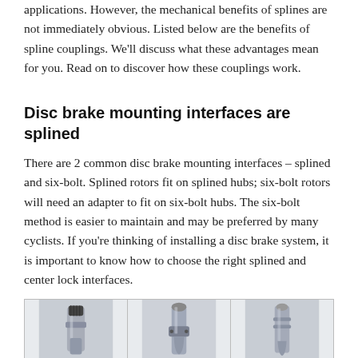applications. However, the mechanical benefits of splines are not immediately obvious. Listed below are the benefits of spline couplings. We'll discuss what these advantages mean for you. Read on to discover how these couplings work.
Disc brake mounting interfaces are splined
There are 2 common disc brake mounting interfaces – splined and six-bolt. Splined rotors fit on splined hubs; six-bolt rotors will need an adapter to fit on six-bolt hubs. The six-bolt method is easier to maintain and may be preferred by many cyclists. If you're thinking of installing a disc brake system, it is important to know how to choose the right splined and center lock interfaces.
[Figure (photo): Three side-by-side photos of splined bicycle hub axle components, shown in a table-like grid with dividers. Each shows a metallic splined shaft/hub component.]